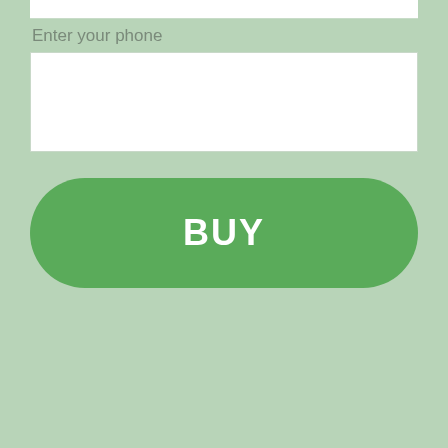Enter your phone
[Figure (screenshot): A white input text field for entering a phone number]
BUY